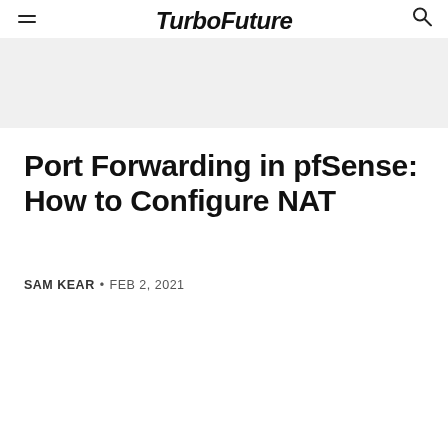TurboFuture
Port Forwarding in pfSense: How to Configure NAT
SAM KEAR • FEB 2, 2021